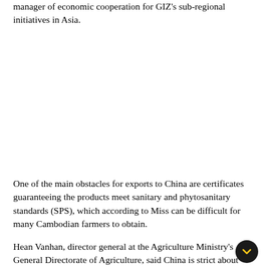manager of economic cooperation for GIZ's sub-regional initiatives in Asia.
One of the main obstacles for exports to China are certificates guaranteeing the products meet sanitary and phytosanitary standards (SPS), which according to Miss can be difficult for many Cambodian farmers to obtain.
Hean Vanhan, director general at the Agriculture Ministry's General Directorate of Agriculture, said China is strict about requiring SPS certificates for all imports, and many local farmers have not yet adapted to the requirements, worrying that...